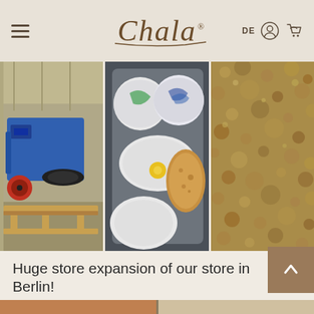Chala — DE (navigation header with hamburger menu, logo, language selector, account and cart icons)
[Figure (photo): Three-panel photo strip: left panel shows a blue industrial textile machine on a wooden pallet in a warehouse; center panel shows white fluffy wool/fiber balls wrapped in plastic bags with colorful patterns; right panel shows a close-up of a granular brown material texture.]
Huge store expansion of our store in Berlin!
31. März 2020
[Figure (photo): Partial view of two photos at the bottom of the page, partially cropped.]